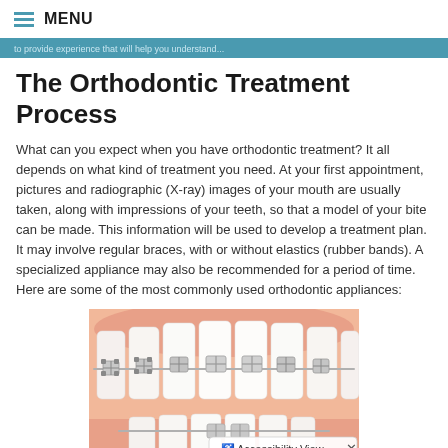MENU
to provide experience that will help you understand...
The Orthodontic Treatment Process
What can you expect when you have orthodontic treatment? It all depends on what kind of treatment you need. At your first appointment, pictures and radiographic (X-ray) images of your mouth are usually taken, along with impressions of your teeth, so that a model of your bite can be made. This information will be used to develop a treatment plan. It may involve regular braces, with or without elastics (rubber bands). A specialized appliance may also be recommended for a period of time. Here are some of the most commonly used orthodontic appliances:
[Figure (illustration): Close-up illustration of teeth with metal orthodontic braces/brackets and wires attached to upper and lower teeth, showing detailed dental braces hardware.]